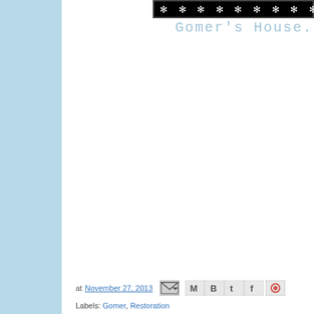[Figure (illustration): Black banner with white snowflake/asterisk pattern repeated across, with a border]
Gomer's House.
at November 27, 2013 [email icon] [social share icons: M, B, T, F, P]
Labels: Gomer, Restoration